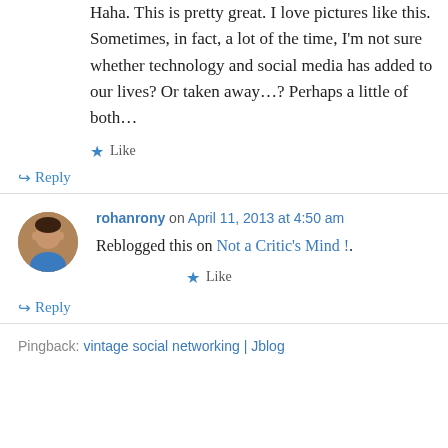Haha. This is pretty great. I love pictures like this. Sometimes, in fact, a lot of the time, I'm not sure whether technology and social media has added to our lives? Or taken away…? Perhaps a little of both…
Like
↳ Reply
rohanrony on April 11, 2013 at 4:50 am
Reblogged this on Not a Critic's Mind !.
Like
↳ Reply
Pingback: vintage social networking | Jblog